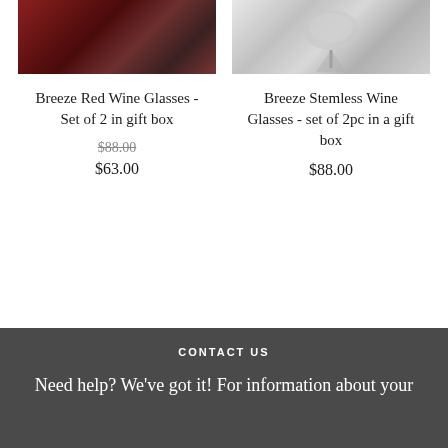[Figure (photo): Partial top view of red wine glasses with dark red bokeh background]
Breeze Red Wine Glasses - Set of 2 in gift box
$88.00 (strikethrough)
$63.00
[Figure (photo): Partial top view of stemless wine glasses with metallic/silver appearance]
Breeze Stemless Wine Glasses - set of 2pc in a gift box
$88.00
CONTACT US
Need help? We've got it! For information about your orders, your account, or any other questions, email